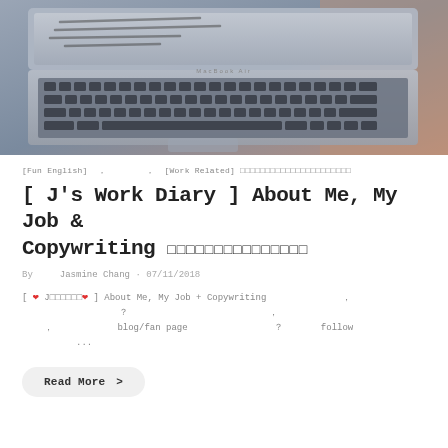[Figure (photo): Close-up photograph of a MacBook Air laptop keyboard and screen, shown at an angle. The screen appears to show some handwritten or sketched content. Warm tones on the right side suggesting a fabric or clothing item.]
[Fun English] , , [Work Related] □□□□□□□□□□□□□□□□□□□□□□
[ J's Work Diary ] About Me, My Job & Copywriting □□□□□□□□□□□□□□□
By Jasmine Chang · 07/11/2018
[ ❤ J□□□□□□❤ ] About Me, My Job + Copywriting , ? , , , blog/fan page ? follow ...
Read More  >